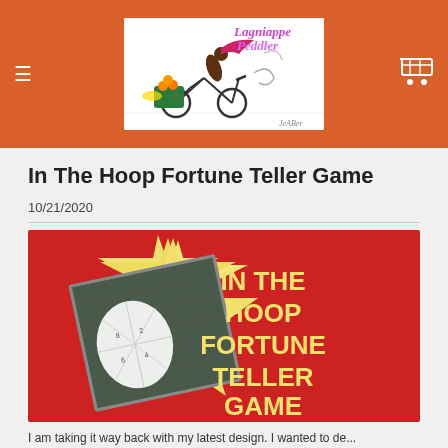Lagniappe Peddler
In The Hoop Fortune Teller Game
10/21/2020
[Figure (illustration): Promotional banner image for 'In The Hoop Fortune Teller Game' — red background with large yellow star, photo of fabric fortune teller pieces on cutting mat, bold yellow text reading 'IN THE HOOP FORTUNE TELLER GAME']
I am taking it way back with my latest design. I wanted to de...